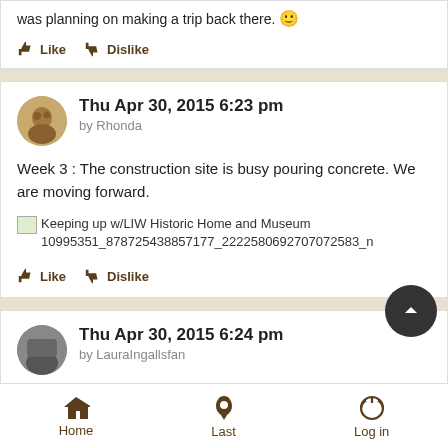was planning on making a trip back there. 🙂
Like   Dislike
Thu Apr 30, 2015 6:23 pm
by Rhonda
Week 3 : The construction site is busy pouring concrete. We are moving forward.
Keeping up w/LIW Historic Home and Museum 10995351_878725438857177_2222580692707072583_n
Like   Dislike
Thu Apr 30, 2015 6:24 pm
by LauraIngallsfan
Home   Last   Log in